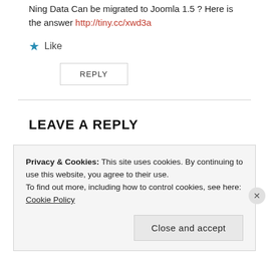Ning Data Can be migrated to Joomla 1.5 ? Here is the answer http://tiny.cc/xwd3a
★ Like
REPLY
LEAVE A REPLY
Your email address will not be published. Required fields are marked *
Privacy & Cookies: This site uses cookies. By continuing to use this website, you agree to their use. To find out more, including how to control cookies, see here: Cookie Policy
Close and accept